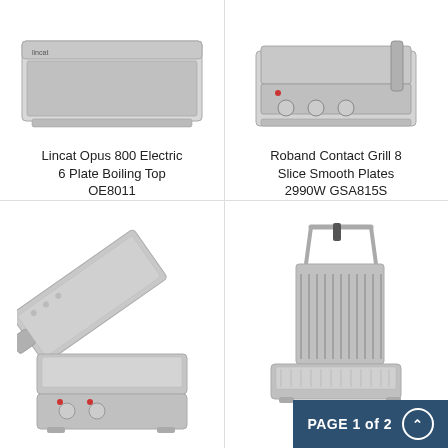[Figure (photo): Lincat Opus 800 Electric 6 Plate Boiling Top OE8011 - stainless steel commercial boiling top with multiple burners and knobs]
Lincat Opus 800 Electric 6 Plate Boiling Top OE8011
[Figure (photo): Roband Contact Grill 8 Slice Smooth Plates 2990W GSA815S - commercial contact grill with smooth plates and control knobs]
Roband Contact Grill 8 Slice Smooth Plates 2990W GSA815S
[Figure (photo): Commercial contact grill with smooth plates open, silver stainless steel finish]
[Figure (photo): Commercial contact grill with ribbed plates open, stainless steel with bar handle]
PAGE 1 of 2